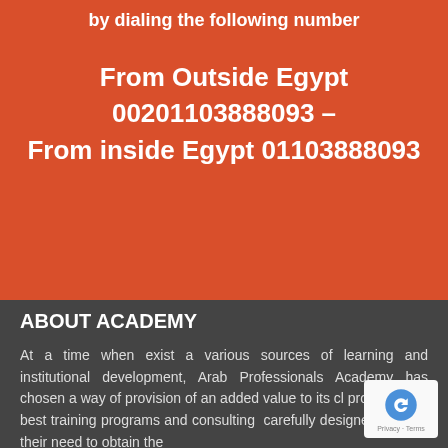by dialing the following number
From Outside Egypt 00201103888093 – From inside Egypt 01103888093
ABOUT ACADEMY
At a time when exist a various sources of learning and institutional development, Arab Professionals Academy has chosen a way of provision of an added value to its cl... providing the best training programs and consulting ... carefully designed to meet their need to obtain the...